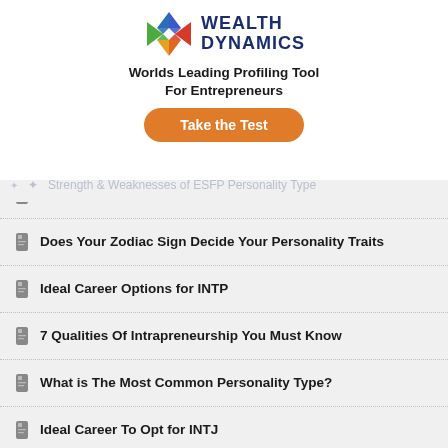[Figure (logo): Wealth Dynamics logo with multicolor X and text 'WEALTH DYNAMICS']
Worlds Leading Profiling Tool
For Entrepreneurs
Take the Test
Tips For Networking In a Fast Growing Business World
Does Your Zodiac Sign Decide Your Personality Traits
Ideal Career Options for INTP
7 Qualities Of Intrapreneurship You Must Know
What is The Most Common Personality Type?
Ideal Career To Opt for INTJ
Ideal Career To Opt for ENTP